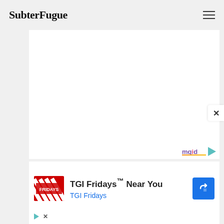SubterFugue
[Figure (other): White content card/advertisement area with mgid logo and play button in bottom right corner]
[Figure (other): Close (X) button overlay on right side]
[Figure (other): TGI Fridays advertisement panel showing TGI Fridays logo, text 'TGI Fridays™ Near You', subtitle 'TGI Fridays', blue diamond navigation arrow icon, and small play/close controls at bottom]